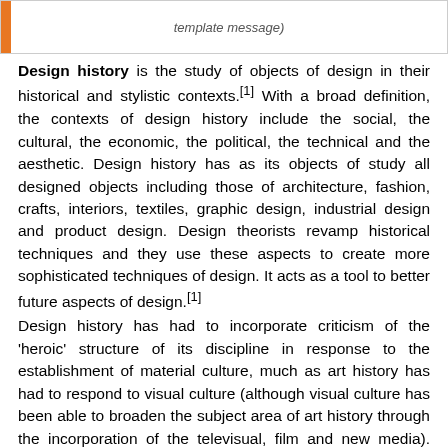template message)
Design history is the study of objects of design in their historical and stylistic contexts.[1] With a broad definition, the contexts of design history include the social, the cultural, the economic, the political, the technical and the aesthetic. Design history has as its objects of study all designed objects including those of architecture, fashion, crafts, interiors, textiles, graphic design, industrial design and product design. Design theorists revamp historical techniques and they use these aspects to create more sophisticated techniques of design. It acts as a tool to better future aspects of design.[1]
Design history has had to incorporate criticism of the 'heroic' structure of its discipline in response to the establishment of material culture, much as art history has had to respond to visual culture (although visual culture has been able to broaden the subject area of art history through the incorporation of the televisual, film and new media). Design history has done this by shifting its focus towards the acts of production and consumption.[2] The acts of production and